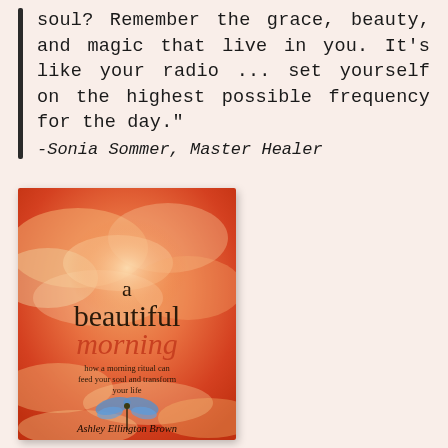soul? Remember the grace, beauty, and magic that live in you. It’s like your radio … set yourself on the highest possible frequency for the day.” -Sonia Sommer, Master Healer
[Figure (illustration): Book cover of 'a beautiful morning — how a morning ritual can feed your soul and transform your life' by Ashley Ellington Brown. Orange/red sky with clouds background, blue dragonfly illustration, text in dark serif and terracotta fonts.]